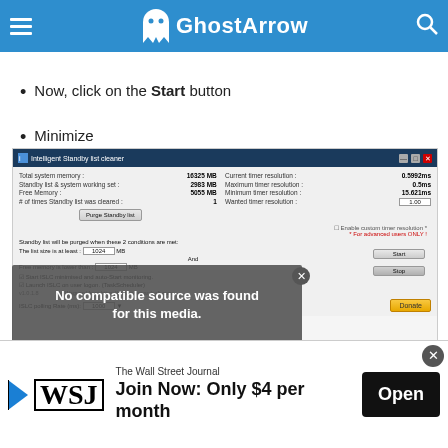GhostArrow
Now, click on the Start button
Minimize
[Figure (screenshot): Intelligent Standby List Cleaner application window showing system memory info: Total system memory 16325 MB, Standby list & system working set 2983 MB, Free Memory 5055 MB, # of times Standby list was cleared: 1. Purge Standby list button. Right side: Current timer resolution 0.5992ms, Maximum timer resolution 0.5ms, Minimum timer resolution 15.621ms, Wanted timer resolution 1.00. Start and Stop buttons. Donate button. Checkboxes for auto-start options. ISLC polling Rate 1000.]
No compatible source was found for this media.
The Wall Street Journal
Join Now: Only $4 per month